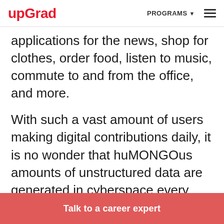upGrad | PROGRAMS ☰
applications for the news, shop for clothes, order food, listen to music, commute to and from the office, and more.
With such a vast amount of users making digital contributions daily, it is no wonder that huMONGOus amounts of unstructured data are generated in cyberspace every single day. Learn more about MongoDB future scope.
Talk to a career expert